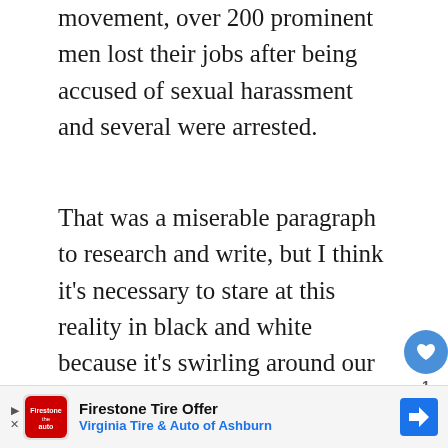movement, over 200 prominent men lost their jobs after being accused of sexual harassment and several were arrested.
That was a miserable paragraph to research and write, but I think it's necessary to stare at this reality in black and white because it's swirling around our kids all the time. We have an incredibly important job as parents, and it feels overwhelming to be parenting in the digital age. Every generation faces new challenges, and this is one of ours. I don't know about you, but I'd like to rise to
[Figure (other): UI action buttons: a blue circle with a heart icon (like button) with count '1', and a light gray circle with a share icon below it]
[Figure (other): Advertisement banner for Firestone Tire Offer - Virginia Tire & Auto of Ashburn, with logo, text, and directional arrow icon]